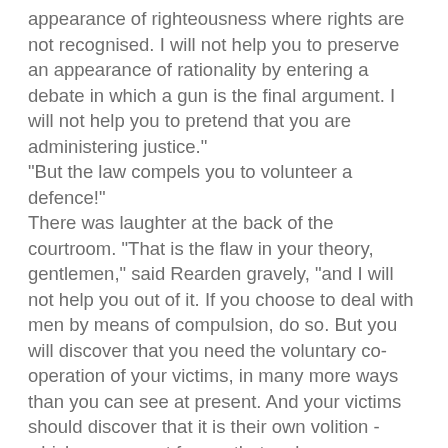appearance of righteousness where rights are not recognised. I will not help you to preserve an appearance of rationality by entering a debate in which a gun is the final argument. I will not help you to pretend that you are administering justice." "But the law compels you to volunteer a defence!" There was laughter at the back of the courtroom. "That is the flaw in your theory, gentlemen," said Rearden gravely, "and I will not help you out of it. If you choose to deal with men by means of compulsion, do so. But you will discover that you need the voluntary co-operation of your victims, in many more ways than you can see at present. And your victims should discover that it is their own volition - which you cannot force - that makes you possible. I choose to be consistent and I will obey you in the manner you demand. Whatever you wish me to do, I will do it at the point of a gun. If you sentence me to jail, you will have to send armed men to carry me there - I will not volunteer to move. If you fine me, you will